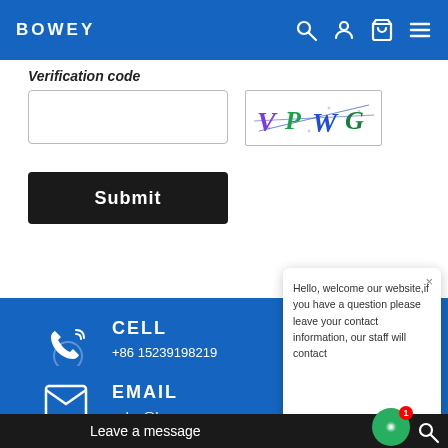BOWEY
Verification code
[Figure (screenshot): CAPTCHA image showing letters V, P, W, G with strikethrough lines]
Submit
CELL
+86 15239198219
EMAIL
sales@bo...
Hello, welcome our website,if you have a question please leave your contact information, our staff will contact
Type
Leave a message